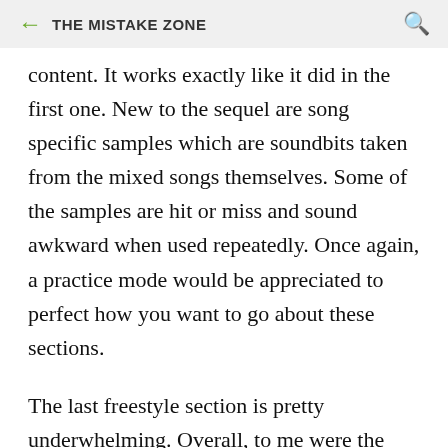THE MISTAKE ZONE
content. It works exactly like it did in the first one. New to the sequel are song specific samples which are soundbits taken from the mixed songs themselves. Some of the samples are hit or miss and sound awkward when used repeatedly. Once again, a practice mode would be appreciated to perfect how you want to go about these sections.
The last freestyle section is pretty underwhelming. Overall, to me were the scratching sections were most disappointing. The scratching itself really just sounds out of place especially compared to the song and the